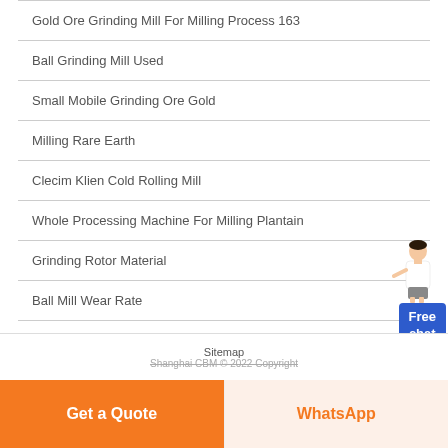Gold Ore Grinding Mill For Milling Process 163
Ball Grinding Mill Used
Small Mobile Grinding Ore Gold
Milling Rare Earth
Clecim Klien Cold Rolling Mill
Whole Processing Machine For Milling Plantain
Grinding Rotor Material
Ball Mill Wear Rate
Vertical Finish Mill
Sheet Circle Grinding Machine
Sitemap
Shanghai CBM © 2022 Copyright
Get a Quote
WhatsApp